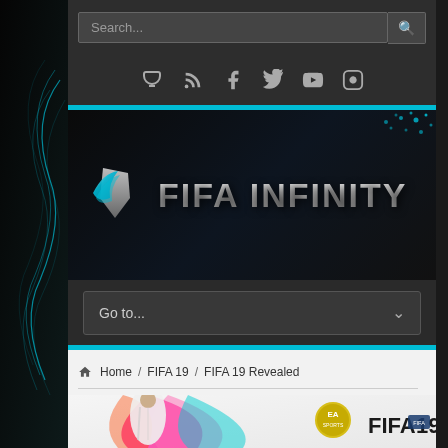[Figure (screenshot): FIFA Infinity gaming website screenshot showing search bar, social media icons, FIFA Infinity logo banner, navigation dropdown, breadcrumb navigation, and FIFA 19 article image]
Search...
[Figure (logo): FIFA Infinity logo with silver/blue wing icon and metallic text FIFA INFINITY on dark background]
Go to...
Home / FIFA 19 / FIFA 19 Revealed
[Figure (photo): FIFA 19 game cover art showing Cristiano Ronaldo in Real Madrid white kit with EA Sports and FIFA19 branding]